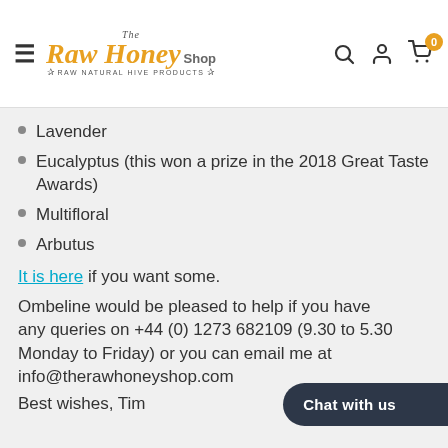The Raw Honey Shop · RAW NATURAL HIVE PRODUCTS
Lavender
Eucalyptus (this won a prize in the 2018 Great Taste Awards)
Multifloral
Arbutus
It is here if you want some.
Ombeline would be pleased to help if you have any queries on +44 (0) 1273 682109 (9.30 to 5.30 Monday to Friday) or you can email me at info@therawhoneyshop.com
Best wishes, Tim